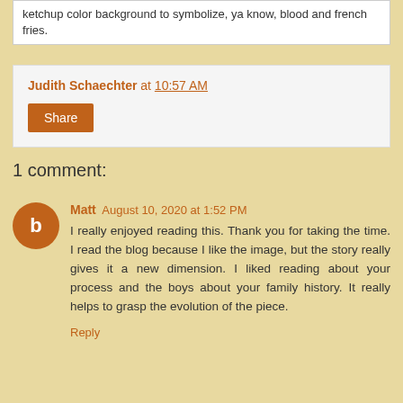ketchup color background to symbolize, ya know, blood and french fries.
Judith Schaechter at 10:57 AM
Share
1 comment:
Matt  August 10, 2020 at 1:52 PM
I really enjoyed reading this. Thank you for taking the time. I read the blog because I like the image, but the story really gives it a new dimension. I liked reading about your process and the boys about your family history. It really helps to grasp the evolution of the piece.
Reply